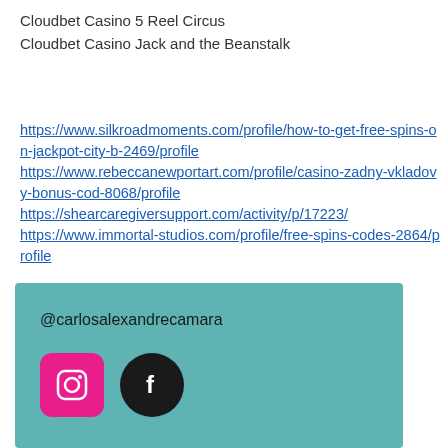Cloudbet Casino 5 Reel Circus
Cloudbet Casino Jack and the Beanstalk
https://www.silkroadmoments.com/profile/how-to-get-free-spins-on-jackpot-city-b-2469/profile https://www.rebeccanewportart.com/profile/casino-zadny-vkladovy-bonus-cod-8068/profile https://shearcaregiversupport.com/activity/p/17223/ https://www.immortal-studios.com/profile/free-spins-codes-2864/profile
@carlosalexandrecamara
[Figure (logo): Instagram icon (pink square with rounded corners and camera outline) and Facebook icon (black circle with white F)]